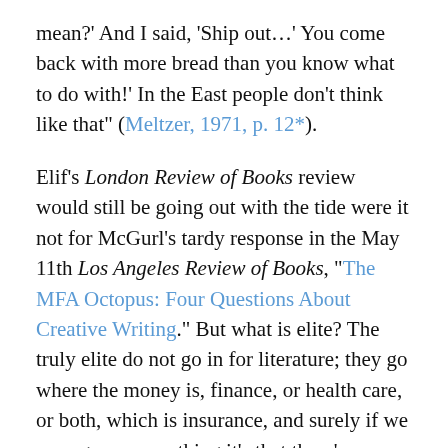mean?' And I said, 'Ship out…' You come back with more bread than you know what to do with!' In the East people don't think like that" (Meltzer, 1971, p. 12*).
Elif's London Review of Books review would still be going out with the tide were it not for McGurl's tardy response in the May 11th Los Angeles Review of Books, "The MFA Octopus: Four Questions About Creative Writing." But what is elite? The truly elite do not go in for literature; they go where the money is, finance, or health care, or both, which is insurance, and surely if we can agree on anything it's that there's no money in literature. The elite that do go in for literature we might call the mal-elite, the black sheep of the elite, for as Jerzy Kosinski said, "Reading novels—serious novels, anyhow—is an experience limited to a very small percentage of the so-called enlightened